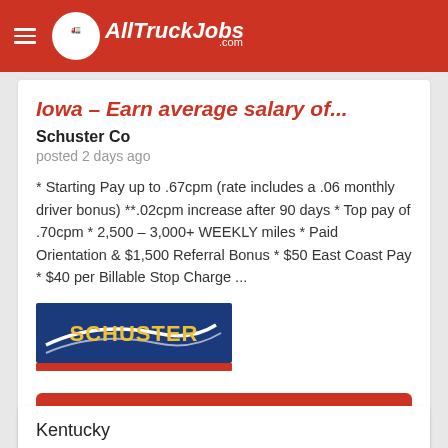AllTruckJobs.com
Iowa – Earn average salary of...
Schuster Co
posted 2 days ago
* Starting Pay up to .67cpm (rate includes a .06 monthly driver bonus) **.02cpm increase after 90 days * Top pay of .70cpm * 2,500 – 3,000+ WEEKLY miles * Paid Orientation & $1,500 Referral Bonus * $50 East Coast Pay * $40 per Billable Stop Charge ...
[Figure (logo): Schuster company logo — blue rectangle with white swoosh lines and SCHUSTER text in gold/yellow, red underline bar]
Learn More!
Kentucky